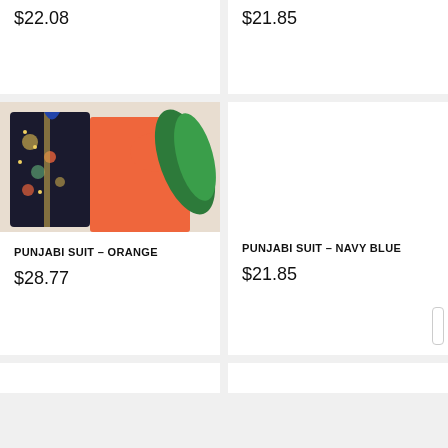$22.08
$21.85
[Figure (photo): Photo of Punjabi suit in orange color with dark embroidered jacket, displayed with green leaf in background]
PUNJABI SUIT – ORANGE
$28.77
PUNJABI SUIT – NAVY BLUE
$21.85